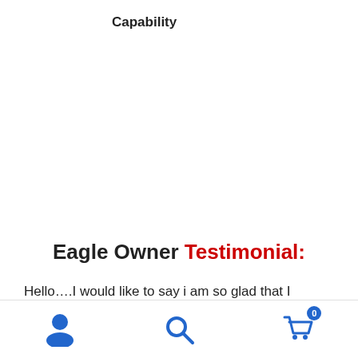Capability
Eagle Owner Testimonial:
Hello….I would like to say i am so glad that I purchased my eagle hd…wheelchair a few weeks ago…it has brought
Navigation icons: user, search, cart (0)